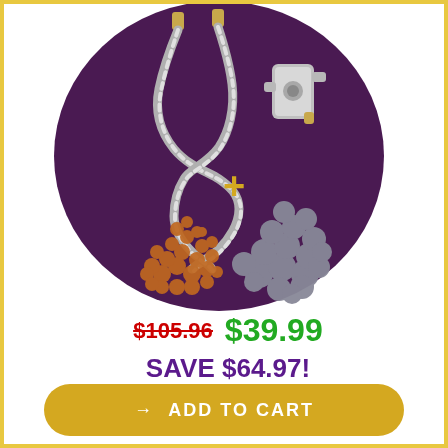[Figure (photo): Product image on dark purple circular background showing a chrome shower hose with diverter valve connector, plus a pile of small orange mineral balls and larger grey mineral balls, with a gold plus sign between them]
$105.96  $39.99
SAVE $64.97!
→ ADD TO CART